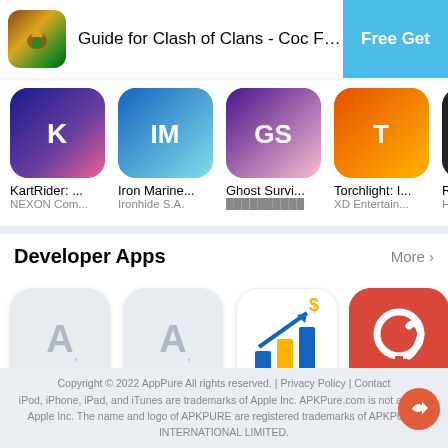[Figure (screenshot): App store banner for Guide for Clash of Clans - Coc Free... with Free Get button]
[Figure (screenshot): Row of game app icons: KartRider (NEXON Com...), Iron Marine... (Ironhide S.A.), Ghost Survi... (non-Latin text), Torchlight: I... (XD Entertain...), Real (Hamz...)]
Developer Apps
[Figure (screenshot): Row of developer app icons: Sales Reco... (Utilities), Tiếng Anh ... (Book), My Earning... (Utilities), Ads Earnin... (Developer Tools), ABC (Family)]
Copyright © 2022 AppPure All rights reserved. | Privacy Policy | Contact iPod, iPhone, iPad, and iTunes are trademarks of Apple Inc. APKPure.com is not affilia... Apple Inc. The name and logo of APKPURE are registered trademarks of APKPUR... INTERNATIONAL LIMITED.